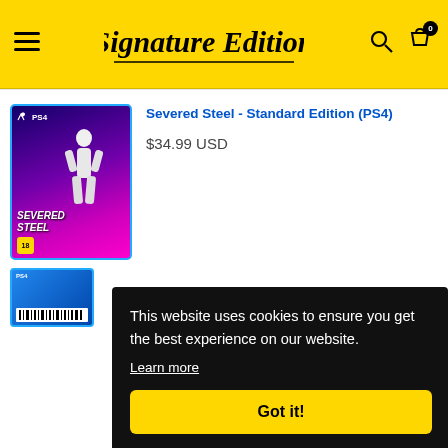Signature Edition
Severed Steel - Standard Edition (PS4)
$34.99 USD
[Figure (illustration): PS4 game box art for Severed Steel - Standard Edition, showing a white-haired character against a purple/pink neon background with the game title text]
This website uses cookies to ensure you get the best experience on our website.
Learn more
Got it!